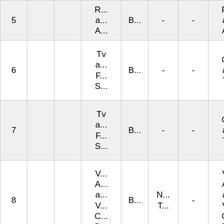|  |  |  |  |  |  |  |  |
| --- | --- | --- | --- | --- | --- | --- | --- |
| 5 |  |  | R...
a...
A... | B... | - | - | R...
a...
A... |
| 6 |  |  | Tv
a...
F...
S... | B... | - | - | C...
a...
T... |
| 7 |  |  | Tv
a...
F...
S... | B... | - | - | C...
a...
T... |
| 8 |  |  | V...
A...
a...
V...
C...
D... | B... | N...
T... | - | V...
A...
a...
V...
C...
D... |
| 9 |  |  | C...
a...
M...
S | M... | W...
T...
W...
T... | [btn] | C...
a...
M...
S |